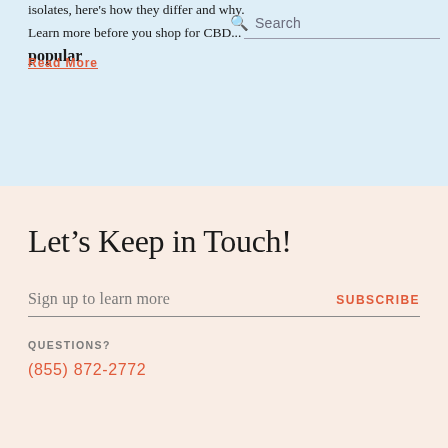isolates, here's how they differ and why. Learn more before you shop for CBD...
Search
Read More
Let's Keep in Touch!
Sign up to learn more
Subscribe
QUESTIONS?
(855) 872-2772